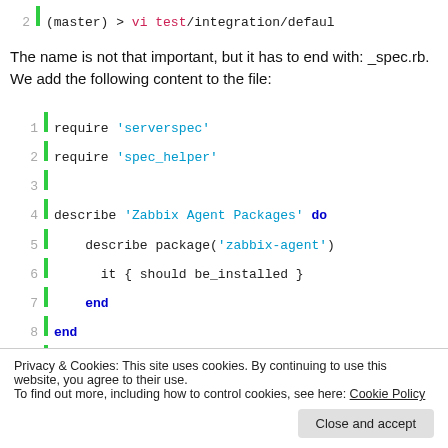[Figure (screenshot): Partial code line showing: 2 | (master) > vi test/integration/defaul]
The name is not that important, but it has to end with: _spec.rb. We add the following content to the file:
[Figure (screenshot): Code block with line numbers 1-12 and green bar, showing Ruby serverspec code for Zabbix Agent Packages and Zabbix Agent Configuration describes]
Privacy & Cookies: This site uses cookies. By continuing to use this website, you agree to their use.
To find out more, including how to control cookies, see here: Cookie Policy